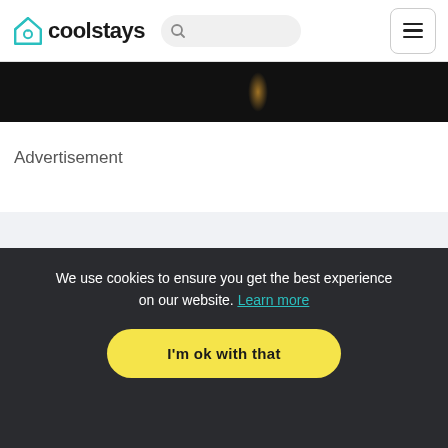coolstays
[Figure (photo): Dark interior photo with candle/amber light visible on right side, cropped at top]
Advertisement
We use cookies to ensure you get the best experience on our website. Learn more
I'm ok with that